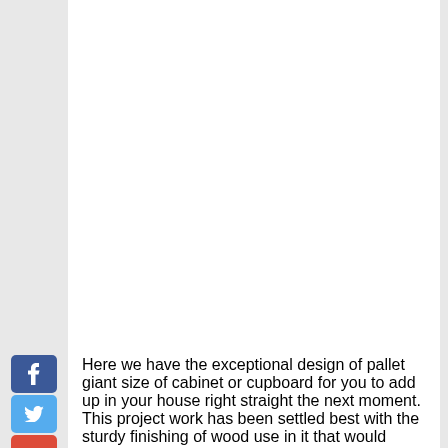Here we have the exceptional design of pallet giant size of cabinet or cupboard for you to add up in your house right straight the next moment. This project work has been settled best with the sturdy finishing of wood use in it that would gradually be adding a complete splendid look.
[Figure (photo): Interior view of a wooden pallet cabinet or cupboard showing a 3x3 grid of open shelving compartments made from light brown wood with natural grain visible.]